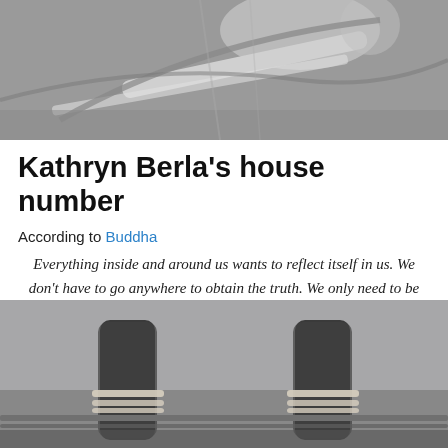[Figure (photo): Black and white close-up photo of rowing oar or boat detail with curved lines and rope/cord elements]
Kathryn Berla's house number
According to Buddha
Everything inside and around us wants to reflect itself in us. We don't have to go anywhere to obtain the truth. We only need to be still and things will reveal themselves in the clear water of your heart.
[Figure (photo): Black and white photo of legs/feet wrapped in rope or cords, standing on what appears to be a fence or railing]